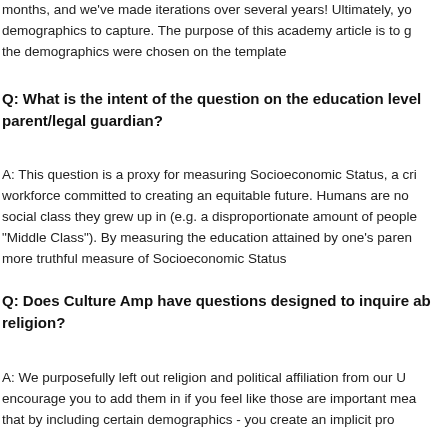months, and we've made iterations over several years! Ultimately, you demographics to capture. The purpose of this academy article is to g the demographics were chosen on the template
Q: What is the intent of the question on the education level parent/legal guardian?
A: This question is a proxy for measuring Socioeconomic Status, a cri workforce committed to creating an equitable future. Humans are n social class they grew up in (e.g. a disproportionate amount of people "Middle Class"). By measuring the education attained by one's paren more truthful measure of Socioeconomic Status
Q: Does Culture Amp have questions designed to inquire ab religion?
A: We purposefully left out religion and political affiliation from our U encourage you to add them in if you feel like those are important mea that by including certain demographics - you create an implicit pro